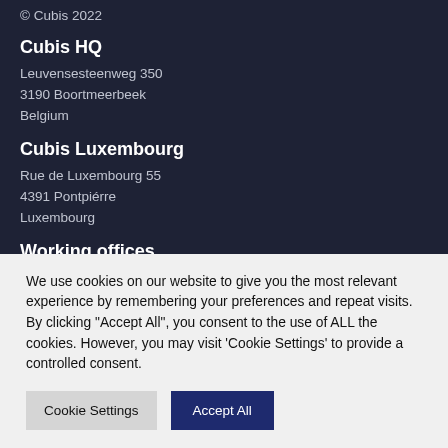© Cubis 2022
Cubis HQ
Leuvensesteenweg 350
3190 Boortmeerbeek
Belgium
Cubis Luxembourg
Rue de Luxembourg 55
4391 Pontpiérre
Luxembourg
Working offices
We use cookies on our website to give you the most relevant experience by remembering your preferences and repeat visits. By clicking "Accept All", you consent to the use of ALL the cookies. However, you may visit 'Cookie Settings' to provide a controlled consent.